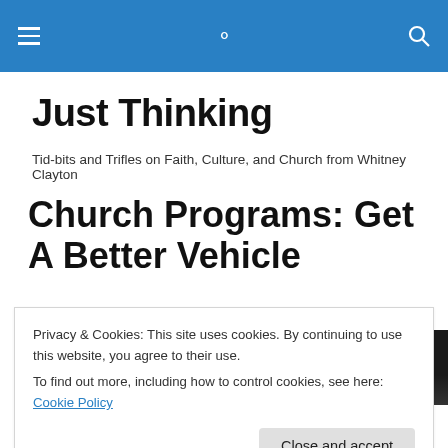Just Thinking — site navigation header bar
Just Thinking
Tid-bits and Trifles on Faith, Culture, and Church from Whitney Clayton
Church Programs: Get A Better Vehicle
[Figure (photo): Dark/black photograph partially visible behind cookie consent banner]
Privacy & Cookies: This site uses cookies. By continuing to use this website, you agree to their use.
To find out more, including how to control cookies, see here: Cookie Policy
Close and accept